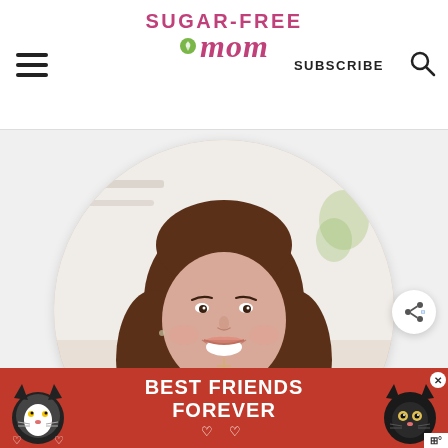[Figure (logo): Sugar-Free Mom website logo in pink/rose color with stylized text and swirl icon]
SUBSCRIBE
[Figure (photo): Circular cropped portrait photo of a smiling woman with long brown wavy hair, wearing a dark red sweater and a cross necklace, with a bright kitchen background]
[Figure (infographic): Advertisement banner showing two cats on red background with text BEST FRIENDS FOREVER and heart symbols]